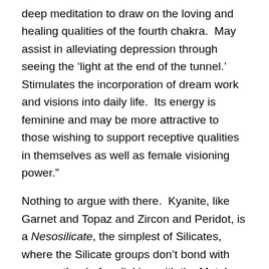deep meditation to draw on the loving and healing qualities of the fourth chakra.  May assist in alleviating depression through seeing the ‘light at the end of the tunnel.’  Stimulates the incorporation of dream work and visions into daily life.  Its energy is feminine and may be more attractive to those wishing to support receptive qualities in themselves as well as female visioning power.”
Nothing to argue with there.  Kyanite, like Garnet and Topaz and Zircon and Peridot, is a Nesosilicate, the simplest of Silicates, where the Silicate groups don’t bond with one another before linking with the Metal ion.  They’re similar to Phosphates and Sulfates in this regard – the rest of the Silicates are more complex.  Like Topaz, Kyanite is an Aluminum Nesosilicate – the difference is that Topaz adds a Fluoride or Hydroxide ion.  After Lithium, Beryllium, Sodium, and Magnesium, Aluminium is the fifth-lightest